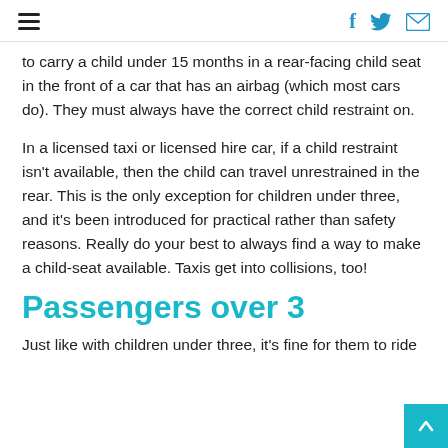≡  f  🐦  ✉
to carry a child under 15 months in a rear-facing child seat in the front of a car that has an airbag (which most cars do). They must always have the correct child restraint on.
In a licensed taxi or licensed hire car, if a child restraint isn't available, then the child can travel unrestrained in the rear. This is the only exception for children under three, and it's been introduced for practical rather than safety reasons. Really do your best to always find a way to make a child-seat available. Taxis get into collisions, too!
Passengers over 3
Just like with children under three, it's fine for them to ride